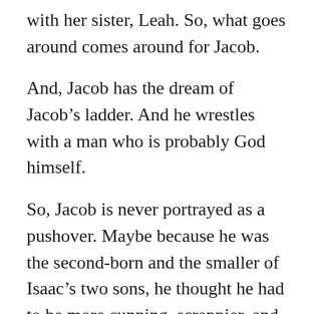with her sister, Leah. So, what goes around comes around for Jacob.
And, Jacob has the dream of Jacob’s ladder. And he wrestles with a man who is probably God himself.
So, Jacob is never portrayed as a pushover. Maybe because he was the second-born and the smaller of Isaac’s two sons, he thought he had to be more cunning, scrappier, and more aggressive than he might have otherwise been.
But the point is, this story is a turning point for Jacob and it defines him for the rest of his life.